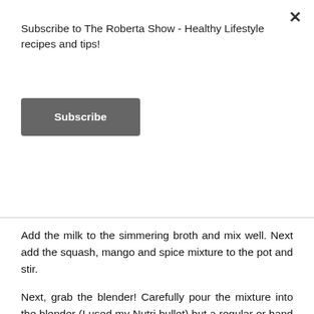Subscribe to The Roberta Show - Healthy Lifestyle recipes and tips!
Subscribe
Add the milk to the simmering broth and mix well. Next add the squash, mango and spice mixture to the pot and stir.
Next, grab the blender! Carefully pour the mixture into the blender (I used my Nutri bullet) but a regular or hand mixer works well. Blend or pulse until the mixture is smooth. All the chunks should be smooth and your spices should be blended. The mixture should be a deep orange color. Pour the soup back into the pot and let it simmer on low. Your soup is finished!
Top with roasted squash seeds, parsley,